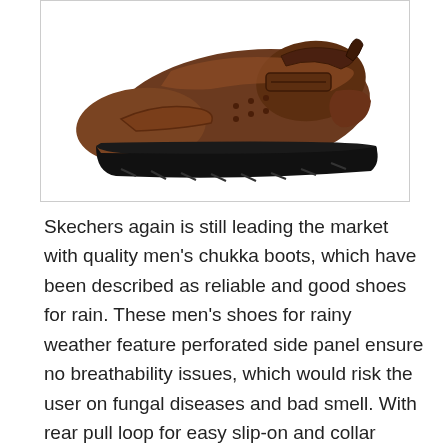[Figure (photo): A brown leather men's chukka shoe/boot with dark rubber sole, viewed from a three-quarter angle showing the side and top of the shoe.]
Skechers again is still leading the market with quality men's chukka boots, which have been described as reliable and good shoes for rain. These men's shoes for rainy weather feature perforated side panel ensure no breathability issues, which would risk the user on fungal diseases and bad smell. With rear pull loop for easy slip-on and collar padding to provide optimum support, it makes them indeed the best option.
The shoes have a shock, absorbing midsole, and